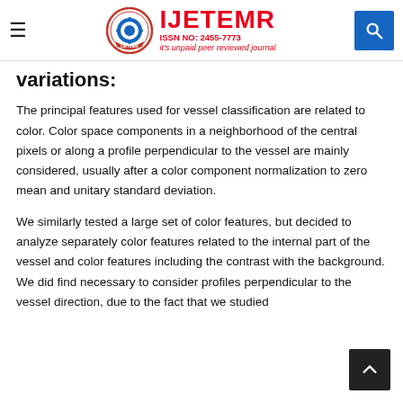IJETEMR ISSN NO: 2455-7773 it's unpaid peer reviewed journal
variations:
The principal features used for vessel classification are related to color. Color space components in a neighborhood of the central pixels or along a profile perpendicular to the vessel are mainly considered, usually after a color component normalization to zero mean and unitary standard deviation.
We similarly tested a large set of color features, but decided to analyze separately color features related to the internal part of the vessel and color features including the contrast with the background. We did find necessary to consider profiles perpendicular to the vessel direction, due to the fact that we studied